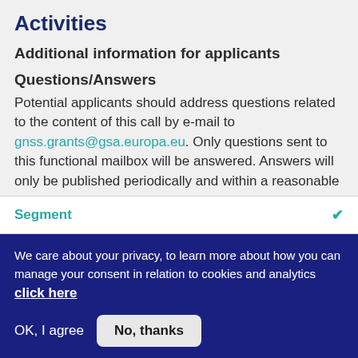Activities
Additional information for applicants
Questions/Answers
Potential applicants should address questions related to the content of this call by e-mail to gnss.grants@gsa.europa.eu. Only questions sent to this functional mailbox will be answered. Answers will only be published periodically and within a reasonable period of time on this...
Segment
We care about your privacy, to learn more about how you can manage your consent in relation to cookies and analytics click here
OK, I agree
No, thanks